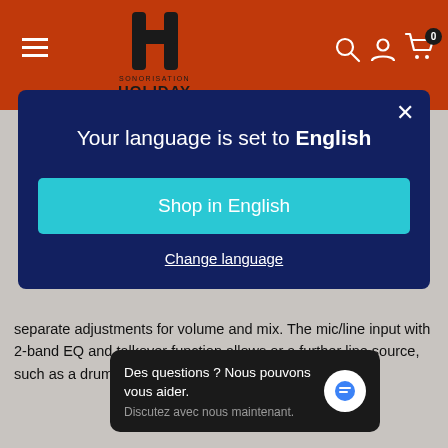[Figure (logo): Sonorisation Holiday logo with hamburger menu, search, user, and cart icons on an orange-red header bar]
Your language is set to English
Shop in English
Change language
separate adjustments for volume and mix. The mic/line input with 2-band EQ and talkover function allows or a further line source, such as a drum machine or a smartphone.
Des questions ? Nous pouvons vous aider. Discutez avec nous maintenant.